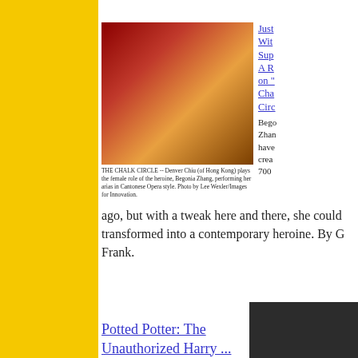[Figure (photo): Performer in Cantonese Opera costume and makeup playing the heroine Begonia Zhang in The Chalk Circle]
THE CHALK CIRCLE -- Denver Chiu (of Hong Kong) plays the female role of the heroine, Begonia Zhang, performing her arias in Cantonese Opera style. Photo by Lee Wexler/Images for Innovation.
Just With Sup A R on "Cha Circ
Bego Zhan have crea 700
ago, but with a tweak here and there, she could transformed into a contemporary heroine. By G Frank.
Potted Potter: The Unauthorized Harry ...